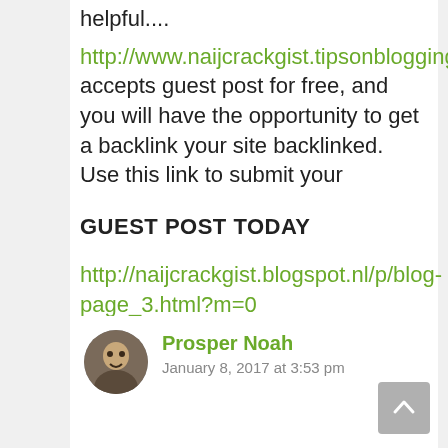helpful....
http://www.naijcrackgist.tipsonblogging.com accepts guest post for free, and you will have the opportunity to get a backlink your site backlinked. Use this link to submit your
GUEST POST TODAY
http://naijcrackgist.blogspot.nl/p/blog-page_3.html?m=0
Reply
Prosper Noah
January 8, 2017 at 3:53 pm